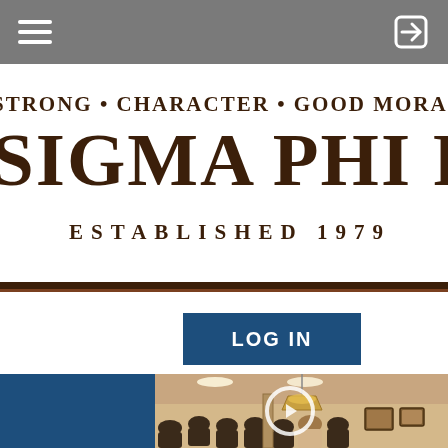Navigation bar with hamburger menu and login icon
STRONG • CHARACTER • GOOD MORA[LS] SIGMA PHI R[HO] ESTABLISHED 1979
LOG IN
[Figure (photo): Group of people seated in a room, appearing to be at a meeting or gathering. The room has recessed lighting and framed pictures on the wall. A circular play button icon is overlaid on the image.]